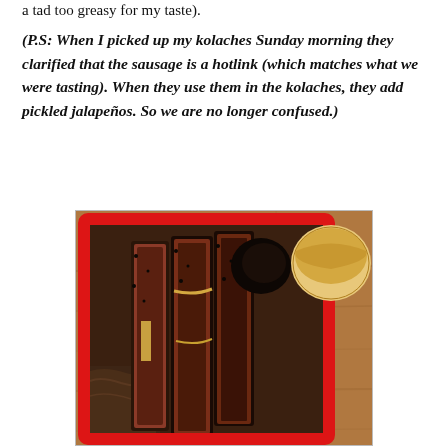a tad too greasy for my taste).
(P.S: When I picked up my kolaches Sunday morning they clarified that the sausage is a hotlink (which matches what we were tasting). When they use them in the kolaches, they add pickled jalapeños. So we are no longer confused.)
[Figure (photo): A close-up photo of sliced smoked brisket with a dark bark crust in a red container, placed on a wooden surface with a round bread roll visible in the upper right corner.]